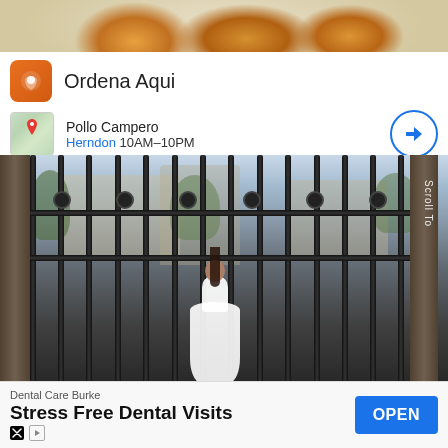[Figure (photo): Food photo showing fried chicken pieces on a plate]
Ordena Aqui
Pollo Campero
Herndon 10AM–10PM
[Figure (photo): Woman in white wedding dress standing at ornate black iron gate, outdoor venue with trees and building in background. Text 'Scroll To' visible on right side.]
Dental Care Burke
Stress Free Dental Visits
OPEN